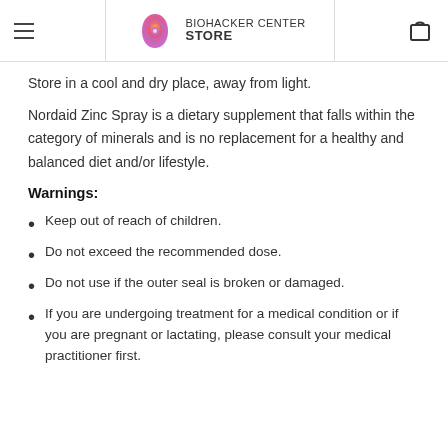BIOHACKER CENTER STORE
Store in a cool and dry place, away from light.
Nordaid Zinc Spray is a dietary supplement that falls within the category of minerals and is no replacement for a healthy and balanced diet and/or lifestyle.
Warnings:
Keep out of reach of children.
Do not exceed the recommended dose.
Do not use if the outer seal is broken or damaged.
If you are undergoing treatment for a medical condition or if you are pregnant or lactating, please consult your medical practitioner first.